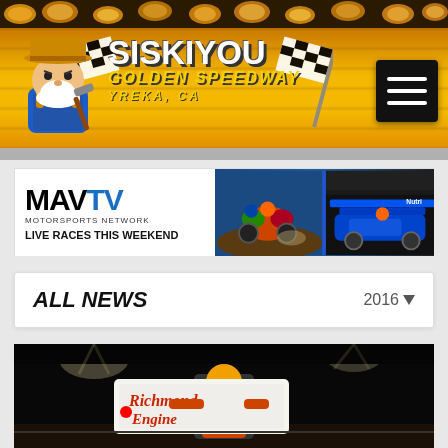[Figure (logo): Siskiyou Golden Speedway header banner with mascot (bearded miner character with cowboy hat), checkered flags, yellow/gold background, wood grain texture, gold nuggets border. Logo text reads SISKIYOU GOLDEN SPEEDWAY YREKA, CA. Hamburger menu icon top right.]
[Figure (photo): MAVTV Motorsports Network advertisement banner showing motorcross and sprint car racing photos. Text reads: MAV TV MOTORSPORTS NETWORK LIVE RACES THIS WEEKEND]
ALL NEWS
[Figure (photo): Night racing photo showing a sprint car driver holding up a Richmond Engine sign/banner on a dark track]